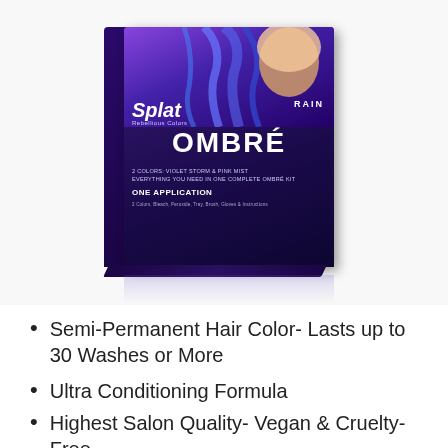[Figure (photo): Splat Rebellious Colors Rain Ombré hair color kit box. Dark purple/navy box featuring a model with vibrant blue/purple ombré hair. Box reads: SPLAT Rebellious Colors, RAIN, OMBRÉ, 2 COLORS: VIOLET STORM & PINK MIST, EVERYTHING YOU NEED IN ONE COMPLETE OMBRÉ KIT, ONE APPLICATION, 2 Colors, Bleach, Peroxide, Tray, Brush, Gloves & Instructions. Box has reflection beneath it.]
Semi-Permanent Hair Color- Lasts up to 30 Washes or More
Ultra Conditioning Formula
Highest Salon Quality- Vegan & Cruelty-Free